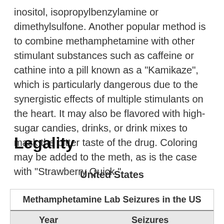inositol, isopropylbenzylamine or dimethylsulfone. Another popular method is to combine methamphetamine with other stimulant substances such as caffeine or cathine into a pill known as a "Kamikaze", which is particularly dangerous due to the synergistic effects of multiple stimulants on the heart. It may also be flavored with high-sugar candies, drinks, or drink mixes to mask the bitter taste of the drug. Coloring may be added to the meth, as is the case with "Strawberry Quick."
Legality
United States
| Year | Seizures |
| --- | --- |